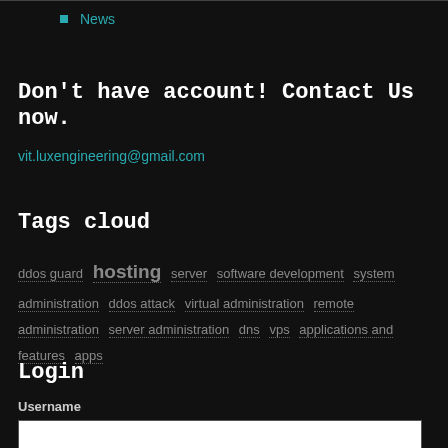News
Don't have account! Contact Us now.
vit.luxengineering@gmail.com
Tags cloud
ddos guard  hosting  server  software development  system administration  ddos attack  virtual administration  remote administration  server administration  dns  vps  applications and features  apps
Login
Username